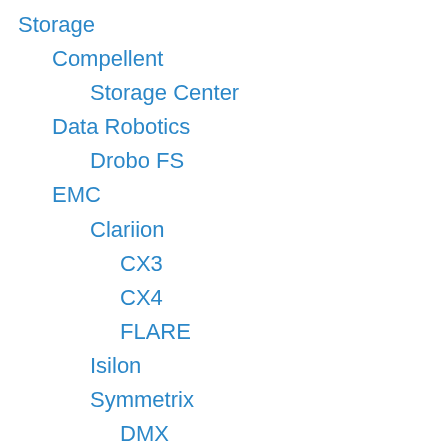Storage
Compellent
Storage Center
Data Robotics
Drobo FS
EMC
Clariion
CX3
CX4
FLARE
Isilon
Symmetrix
DMX
Enginuity
V-MAX
VNX
VPLEX
Nutanix
NX-2400
Tiering